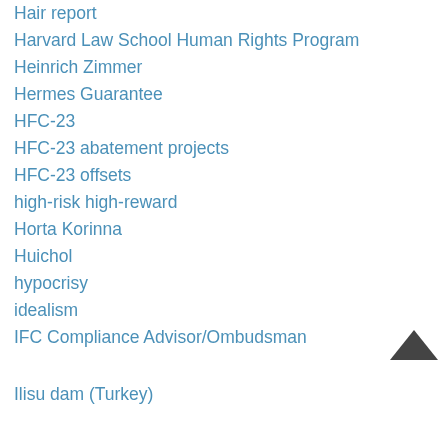Hair report
Harvard Law School Human Rights Program
Heinrich Zimmer
Hermes Guarantee
HFC-23
HFC-23 abatement projects
HFC-23 offsets
high-risk high-reward
Horta Korinna
Huichol
hypocrisy
idealism
IFC Compliance Advisor/Ombudsman
Ilisu dam (Turkey)
[Figure (illustration): Upward-pointing chevron/arrow icon for scroll-to-top navigation]